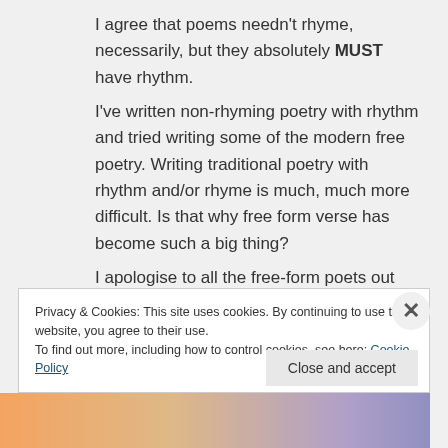I agree that poems needn't rhyme, necessarily, but they absolutely MUST have rhythm. I've written non-rhyming poetry with rhythm and tried writing some of the modern free poetry. Writing traditional poetry with rhythm and/or rhyme is much, much more difficult. Is that why free form verse has become such a big thing? I apologise to all the free-form poets out there if you think I'm being rather pedantic
Privacy & Cookies: This site uses cookies. By continuing to use this website, you agree to their use. To find out more, including how to control cookies, see here: Cookie Policy
Close and accept